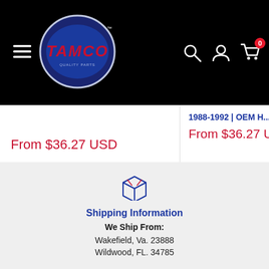[Figure (logo): TAMCO logo - circular badge with blue oval and red TAMCO text]
From $36.27 USD
1988-1992 | OEM From $36.27 USD
Shipping Information
We Ship From:
Wakefield, Va. 23888
Wildwood, FL. 34785